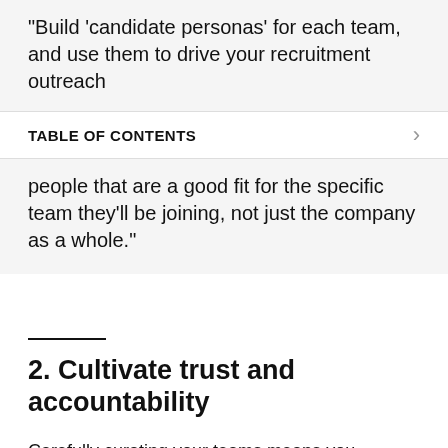“Build ‘candidate personas’ for each team, and use them to drive your recruitment outreach
TABLE OF CONTENTS
people that are a good fit for the specific team they’ll be joining, not just the company as a whole.”
2. Cultivate trust and accountability
Carefully curating your teams means you